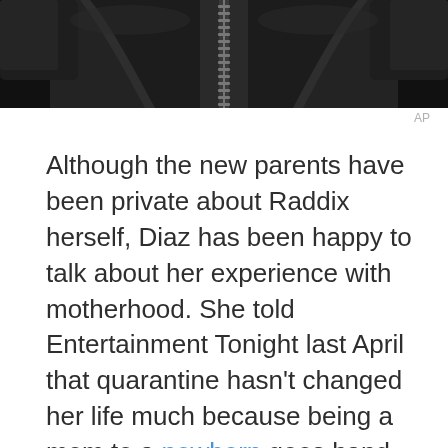[Figure (photo): Partial view of a black leather jacket with zipper, shown from the torso area cropped at the top of the page.]
AP
Although the new parents have been private about Raddix herself, Diaz has been happy to talk about her experience with motherhood. She told Entertainment Tonight last April that quarantine hasn't changed her life much because being a mom to a newborn goes hand-in-hand with staying at home.